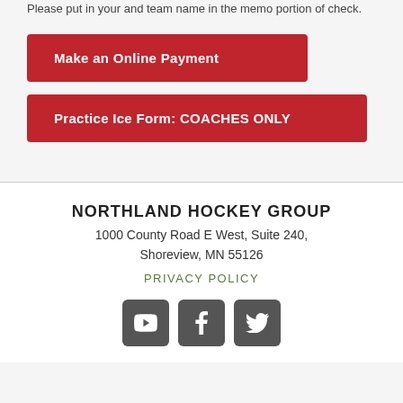Please put in your and team name in the memo portion of check.
Make an Online Payment
Practice Ice Form: COACHES ONLY
NORTHLAND HOCKEY GROUP
1000 County Road E West, Suite 240,
Shoreview, MN 55126
PRIVACY POLICY
[Figure (other): Social media icons: YouTube, Facebook, Twitter]